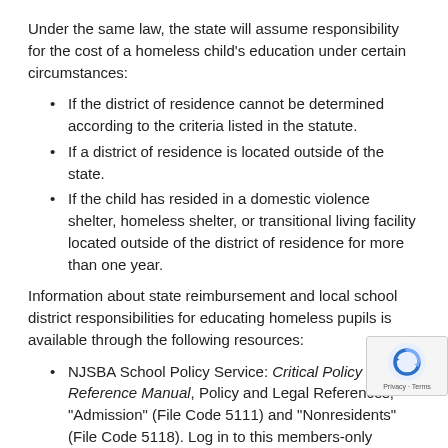Under the same law, the state will assume responsibility for the cost of a homeless child's education under certain circumstances:
If the district of residence cannot be determined according to the criteria listed in the statute.
If a district of residence is located outside of the state.
If the child has resided in a domestic violence shelter, homeless shelter, or transitional living facility located outside of the district of residence for more than one year.
Information about state reimbursement and local school district responsibilities for educating homeless pupils is available through the following resources:
NJSBA School Policy Service: Critical Policy Reference Manual, Policy and Legal References, "Admission" (File Code 5111) and "Nonresidents" (File Code 5118). Log in to this members-only service at https://ws.njsba.org/njsba/po
NJDOE, Education for Homeless Children and Youth Program, https://www.nj.gov/education/homeless/
NJDOE, 2018 Frequently Asked Questions about homeless…